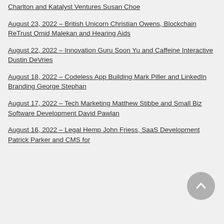Charlton and Katalyst Ventures Susan Choe
August 23, 2022 – British Unicorn Christian Owens, Blockchain ReTrust Omid Malekan and Hearing Aids
August 22, 2022 – Innovation Guru Soon Yu and Caffeine Interactive Dustin DeVries
August 18, 2022 – Codeless App Building Mark Piller and LinkedIn Branding George Stephan
August 17, 2022 – Tech Marketing Matthew Stibbe and Small Biz Software Development David Pawlan
August 16, 2022 – Legal Hemp John Friess, SaaS Development Patrick Parker and CMS for